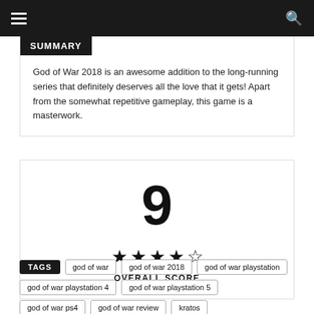Navigation bar with hamburger menu and search icon
SUMMARY
God of War 2018 is an awesome addition to the long-running series that definitely deserves all the love that it gets! Apart from the somewhat repetitive gameplay, this game is a masterwork.
[Figure (infographic): Score box showing numeric score of 9, four filled stars and one half star, labeled OVERALL SCORE]
TAGS  god of war  god of war 2018  god of war playstation  god of war playstation 4  god of war playstation 5  god of war ps4  god of war review  kratos